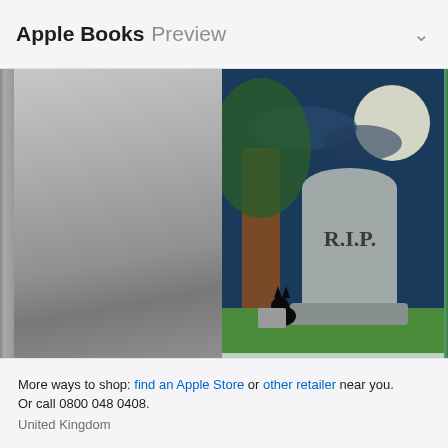Apple Books Preview
[Figure (screenshot): Book cover for 'Real Estate And Murder' - gray gradient cover, appears blank/generic]
[Figure (illustration): Book cover for 'Pretty is as Pretty Dies' - A Myrtle Clover Mystery, showing a graveyard scene with R.I.P. tombstone, black cat, tree, moonlit sky, blue lower half with white title text]
[Figure (illustration): Partially visible third book cover, green/blue tones, cropped]
Real Estate And Murder
2016
Pretty is as Pretty Dies
2010
De
201
More ways to shop: find an Apple Store or other retailer near you.
Or call 0800 048 0408.
United Kingdom